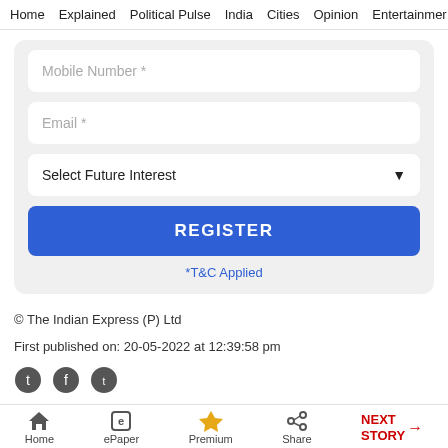Home  Explained  Political Pulse  India  Cities  Opinion  Entertainment
[Figure (screenshot): Registration form with Mobile Number input, Email input, Select Future Interest dropdown, REGISTER button, and *T&C Applied link]
© The Indian Express (P) Ltd
First published on: 20-05-2022 at 12:39:58 pm
Home  ePaper  Premium  Share  NEXT STORY →